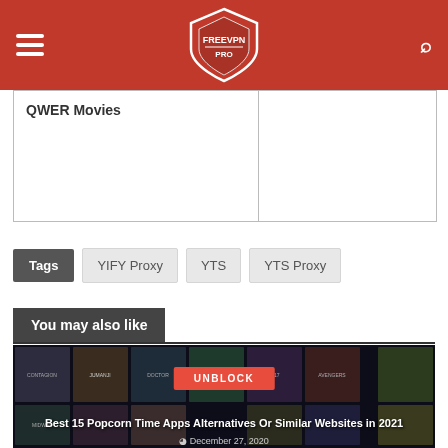FREEVPN PRO — site header with logo, hamburger menu, and search icon
QWER Movies
Tags  YIFY Proxy  YTS  YTS Proxy
You may also like
[Figure (screenshot): Movie posters grid (Contagion, Jumanji, etc.) with UNBLOCK button overlay and title 'Best 15 Popcorn Time Apps Alternatives Or Similar Websites in 2021', December 27, 2020]